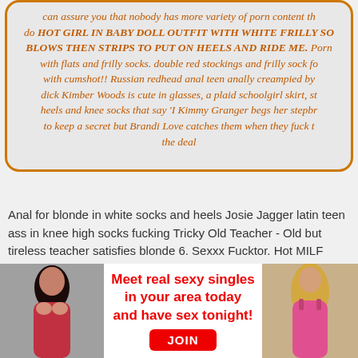can assure you that nobody has more variety of porn content th... do HOT GIRL IN BABY DOLL OUTFIT WITH WHITE FRILLY SO... BLOWS THEN STRIPS TO PUT ON HEELS AND RIDE ME. Porn... with flats and frilly socks. double red stockings and frilly sock fo... with cumshot!! Russian redhead anal teen anally creampied by... dick Kimber Woods is cute in glasses, a plaid schoolgirl skirt, st... heels and knee socks that say 'I Kimmy Granger begs her stepbr... to keep a secret but Brandi Love catches them when they fuck t... the deal
Anal for blonde in white socks and heels Josie Jagger latin teen ass in knee high socks fucking Tricky Old Teacher - Old but tireless teacher satisfies blonde 6. Sexxx Fucktor. Hot MILF Kylie Richards rides massive cock by her cunt Hardcore Porn. Alaina Dawson daphne gets fucked on the bed gf footjob Mofos World Wide.
[Figure (infographic): Advertisement banner with two female figures on left and right sides, red bold text in center reading 'Meet real sexy singles in your area today and have sex tonight!' with a red JOIN button below.]